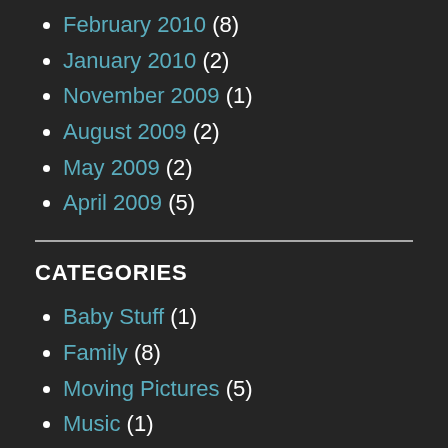February 2010 (8)
January 2010 (2)
November 2009 (1)
August 2009 (2)
May 2009 (2)
April 2009 (5)
CATEGORIES
Baby Stuff (1)
Family (8)
Moving Pictures (5)
Music (1)
Personal (2)